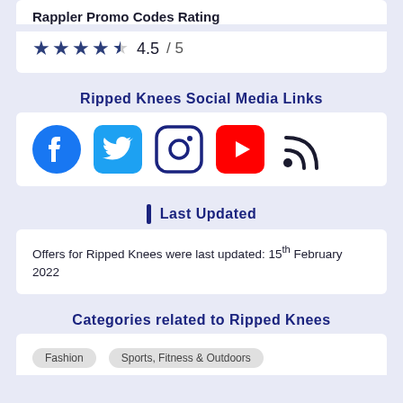Rappler Promo Codes Rating
4.5 / 5
Ripped Knees Social Media Links
[Figure (illustration): Social media icons: Facebook, Twitter, Instagram, YouTube, and a blog/RSS icon]
Last Updated
Offers for Ripped Knees were last updated: 15th February 2022
Categories related to Ripped Knees
Fashion
Sports, Fitness & Outdoors